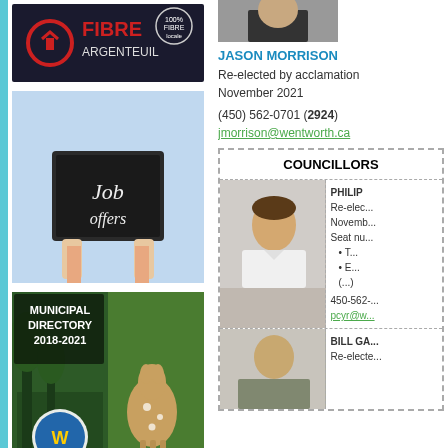[Figure (logo): Fibre Argenteuil logo - dark background with red circular icon and FIBRE ARGENTEUIL text, 100% Fibre Locale badge]
[Figure (photo): Person holding a chalkboard sign that reads 'Job offers']
[Figure (photo): Municipal Directory 2018-2021 with Wentworth logo and photo of a deer fawn in forest]
[Figure (logo): Info Wentworth green circular logo with tree and W emblem, large green 'Info' text]
[Figure (photo): Partial photo of a person (Jason Morrison) cropped at top]
JASON MORRISON
Re-elected by acclamation November 2021
(450) 562-0701 (2924)
jmorrison@wentworth.ca
| COUNCILLORS |
| --- |
| Photo of councillor (man in white shirt) | PHILIP... Re-elec... Novemb... Seat nu... • T... • E... (...) 450-562-... pcyr@w... |
| Partial photo | BILL GA... Re-electe... |
BILL GA...
Re-electe...